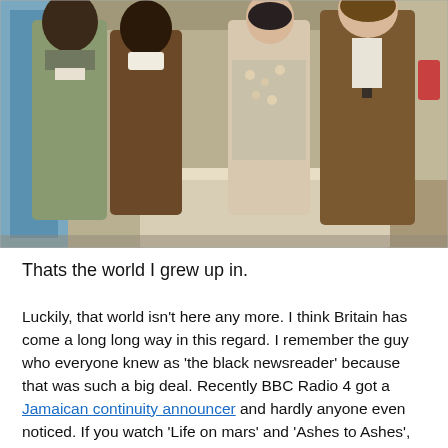[Figure (photo): A vintage color photograph showing four people in what appears to be an indoor scene from a 1970s British TV show. Two people on the left (a Black man in a grey-green jacket and a Black woman in a brown outfit) face two people on the right (a white woman in a floral blouse and a white man in a brown suit). A table with glass bottles is visible in the foreground.]
Thats the world I grew up in.
Luckily, that world isn't here any more. I think Britain has come a long long way in this regard. I remember the guy who everyone knew as 'the black newsreader' because that was such a big deal. Recently BBC Radio 4 got a Jamaican continuity announcer and hardly anyone even noticed. If you watch 'Life on mars' and 'Ashes to Ashes',